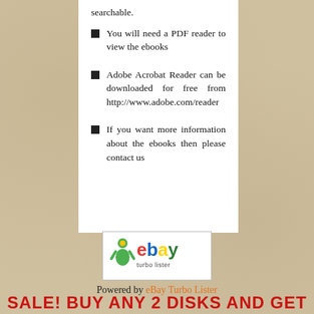searchable.
You will need a PDF reader to view the ebooks
Adobe Acrobat Reader can be downloaded for free from http://www.adobe.com/reader
If you want more information about the ebooks then please contact us
[Figure (logo): eBay Turbo Lister logo]
Powered by eBay Turbo Lister
SALE! BUY ANY 2 DISKS AND GET